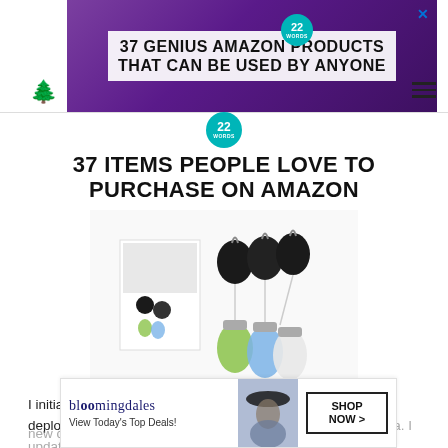[Figure (screenshot): Advertisement banner for '37 Genius Amazon Products That Can Be Used By Anyone' with purple headphones background and 22 Words badge. Includes a close X button.]
[Figure (logo): 22 Words circular teal badge logo below the ad banner]
37 ITEMS PEOPLE LOVE TO PURCHASE ON AMAZON
[Figure (photo): Product photo of retractable badge reels with silicone travel bottles in green, blue, and clear colors, with product packaging box]
I initially posted this recipe in August 2013. My pictures were deplorable because I was still getting used to my new camera. I updated the pictures in 2020 with the latest
[Figure (screenshot): Bloomingdale's advertisement banner at the bottom: 'View Today's Top Deals!' with a woman in a hat and SHOP NOW > button. CLOSE button overlay on top.]